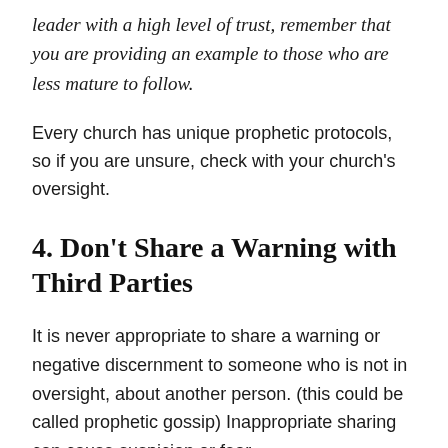leader with a high level of trust, remember that you are providing an example to those who are less mature to follow.
Every church has unique prophetic protocols, so if you are unsure, check with your church's oversight.
4. Don't Share a Warning with Third Parties
It is never appropriate to share a warning or negative discernment to someone who is not in oversight, about another person. (this could be called prophetic gossip) Inappropriate sharing can cause suspicion or fear.